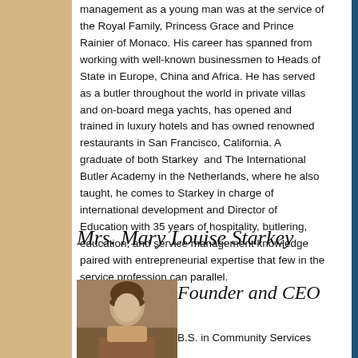management as a young man was at the service of the Royal Family, Princess Grace and Prince Rainier of Monaco. His career has spanned from working with well-known businessmen to Heads of State in Europe, China and Africa. He has served as a butler throughout the world in private villas and on-board mega yachts, has opened and trained in luxury hotels and has owned renowned restaurants in San Francisco, California. A graduate of both Starkey and The International Butler Academy in the Netherlands, where he also taught, he comes to Starkey in charge of international development and Director of Education with 35 years of hospitality, butlering, education, and service management knowledge paired with entrepreneurial expertise that few in the service profession can parallel.
Mrs. Mary Louise Starkey
Founder and CEO
[Figure (photo): Portrait photo of Mrs. Mary Louise Starkey]
B.S. in Community Services